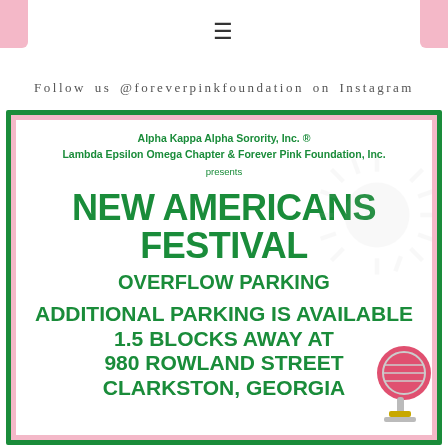≡
Follow us @foreverpinkfoundation on Instagram
[Figure (infographic): New Americans Festival overflow parking flyer from Alpha Kappa Alpha Sorority, Inc. Lambda Epsilon Omega Chapter & Forever Pink Foundation, Inc. featuring event details in green on white background with pink border]
Alpha Kappa Alpha Sorority, Inc. ® Lambda Epsilon Omega Chapter & Forever Pink Foundation, Inc. presents NEW AMERICANS FESTIVAL OVERFLOW PARKING ADDITIONAL PARKING IS AVAILABLE 1.5 BLOCKS AWAY AT 980 ROWLAND STREET CLARKSTON, GEORGIA